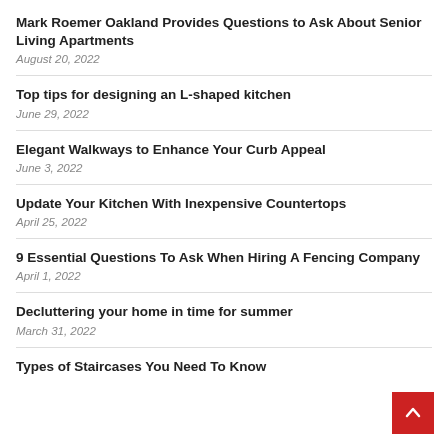Mark Roemer Oakland Provides Questions to Ask About Senior Living Apartments
August 20, 2022
Top tips for designing an L-shaped kitchen
June 29, 2022
Elegant Walkways to Enhance Your Curb Appeal
June 3, 2022
Update Your Kitchen With Inexpensive Countertops
April 25, 2022
9 Essential Questions To Ask When Hiring A Fencing Company
April 1, 2022
Decluttering your home in time for summer
March 31, 2022
Types of Staircases You Need To Know